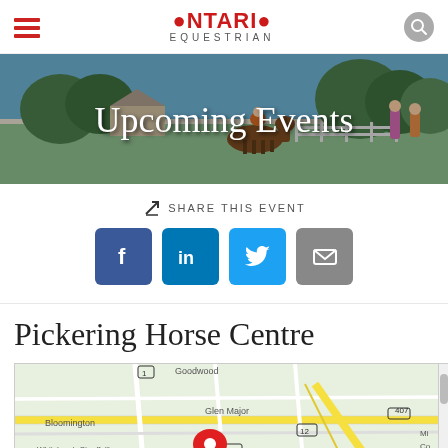Ontario Equestrian
[Figure (photo): Hero banner image showing equestrian event with horse and riders, overlaid with text 'Upcoming Events']
Upcoming Events
SHARE THIS EVENT
[Figure (infographic): Social share buttons: Facebook, LinkedIn, Twitter, Email]
Pickering Horse Centre
[Figure (map): Google Maps showing Pickering area with location pin, showing Bloomington, Glen Major, Whitchurch-Stouffville, highway 407, 23, 12, 1, 48]